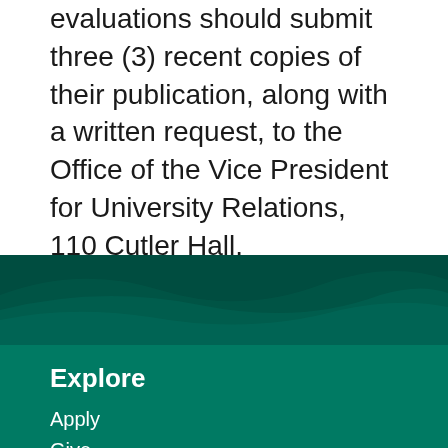evaluations should submit three (3) recent copies of their publication, along with a written request, to the Office of the Vice President for University Relations, 110 Cutler Hall.
[Figure (illustration): Dark teal wave decorative banner separating content from footer]
Explore
Apply
Give